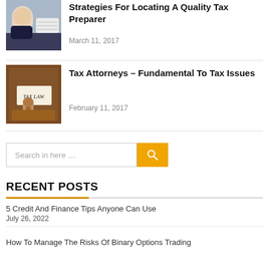[Figure (photo): Woman in business attire consulting with someone]
Strategies For Locating A Quality Tax Preparer
March 11, 2017
[Figure (photo): Gavel on a Tax Law document]
Tax Attorneys – Fundamental To Tax Issues
February 11, 2017
Search in here …
RECENT POSTS
5 Credit And Finance Tips Anyone Can Use
July 26, 2022
How To Manage The Risks Of Binary Options Trading